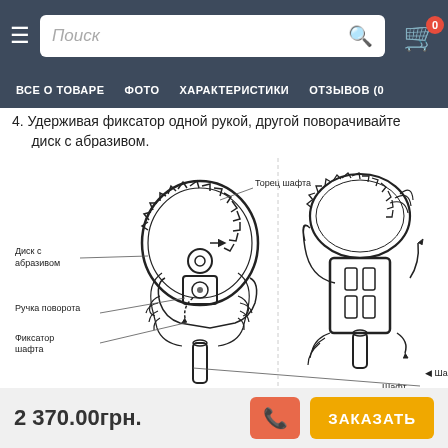Поиск  |  ВСЕ О ТОВАРЕ  |  ФОТО  |  ХАРАКТЕРИСТИКИ  |  ОТЗЫВОВ (0)
4. Удерживая фиксатор одной рукой, другой поворачивайте диск с абразивом.
[Figure (engineering-diagram): Technical illustration showing two-step process of holding a shaft lock and rotating an abrasive disc. Left diagram labels: Торец шафта (shaft end), Диск с абразивом (abrasive disc), Ручка поворота (rotation handle), Фиксатор шафта (shaft lock), Шафт (shaft). Right diagram shows hands operating the mechanism with rotation arrows.]
2 370.00грн.
ЗАКАЗАТЬ